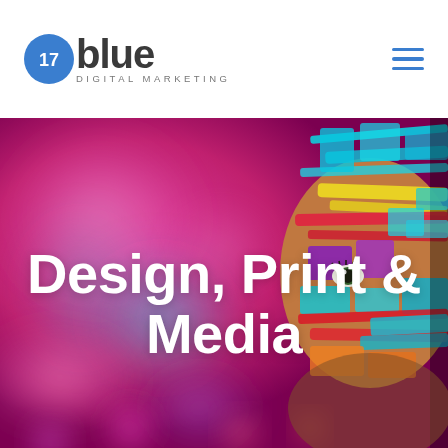[Figure (logo): 17blue Digital Marketing logo: blue circle with '17', followed by bold text 'blue', and 'DIGITAL MARKETING' beneath]
[Figure (illustration): Hamburger menu icon (three horizontal blue lines) in top right corner]
[Figure (photo): Hero banner image: colorful abstract blurred paint blobs in pink, magenta, teal, purple on the left; a face painted with vivid multicolored paint strokes (teal, yellow, red, purple) on the right side]
Design, Print & Media